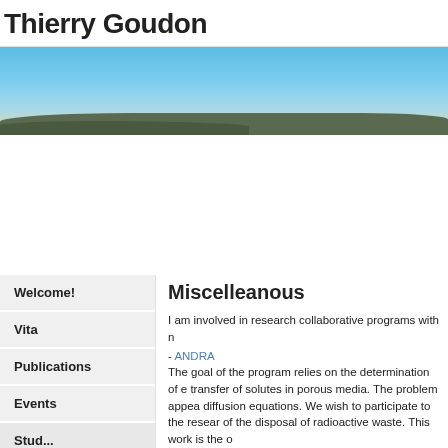Thierry Goudon
[Figure (photo): Landscape banner photo showing a blue sky with a dark landmass/island silhouette at the bottom]
Miscelleanous
Welcome!
Vita
Publications
Events
I am involved in research collaborative programs with n
- ANDRA
The goal of the program relies on the determination of e transfer of solutes in porous media. The problem appea diffusion equations. We wish to participate to the resear of the disposal of radioactive waste. This work is the o